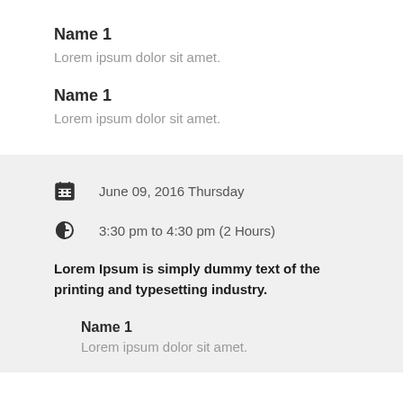Name 1
Lorem ipsum dolor sit amet.
Name 1
Lorem ipsum dolor sit amet.
June 09, 2016 Thursday
3:30 pm to 4:30 pm (2 Hours)
Lorem Ipsum is simply dummy text of the printing and typesetting industry.
Name 1
Lorem ipsum dolor sit amet.